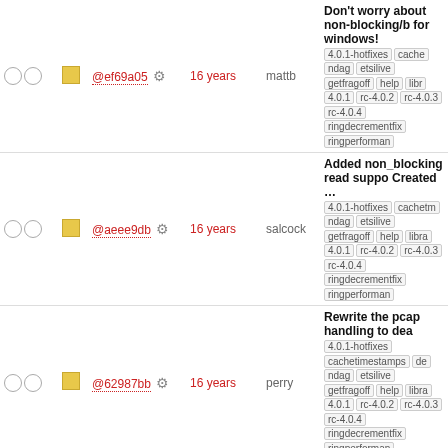|  |  | hash | age | author | description |
| --- | --- | --- | --- | --- | --- |
| ○○ | ■ | @ef69a05 ⚙ | 16 years | mattb | Don't worry about non-blocking/b for windows! 4.0.1-hotfixes cache ndag etsilive getfragoff help libr 4.0.1 rc-4.0.2 rc-4.0.3 rc-4.0.4 ringdecrementfix ringperforman |
| ○○ | ■ | @aeee9db ⚙ | 16 years | salcock | Added non_blocking read suppo Created … 4.0.1-hotfixes cachet ndag etsilive getfragoff help libra 4.0.1 rc-4.0.2 rc-4.0.3 rc-4.0.4 ringdecrementfix ringperforman |
| ○○ | ■ | @62987bb ⚙ | 16 years | perry | Rewrite the pcap handling to dea 4.0.1-hotfixes cachetimestamps de ndag etsilive getfragoff help libra 4.0.1 rc-4.0.2 rc-4.0.3 rc-4.0.4 ringdecrementfix ringperforman |
| ○○ | ■ | @9a5b234 ⚙ | 16 years | perry | Avoid warnings 4.0.1-hotfixes cachetimestamps develop ndag etsilive getfragoff help libra 4.0.1 rc-4.0.2 rc-4.0.3 rc-4.0.4 ringdecrementfix ringperforman |
| ○○ | ■ | @84a8828 ⚙ | 16 years | perry | Avoid warnings 4.0.1-hotfixes cachetimestamps develop ndag etsilive getfragoff help libra 4.0.1 rc-4.0.2 rc-4.0.3 rc-4.0.4 ringdecrementfix ringperforman |
| ○○ | ■ | @998bee5 ⚙ | 16 years | mattb | Fix segfault when attempting to p mode. Extra … 4.0.1-hotfixes cachetimestamps develop ndag etsilive getfragoff help libra 4.0.1 rc-4.0.2 rc-4.0.3 rc-4.0.4 ringdecrementfix ringperforman |
| ○○ | ■ | @... ⚙ | 16 ... |  | More documentation, add some convention for … 4.0.1-hotfixes cachetimestamps develop |